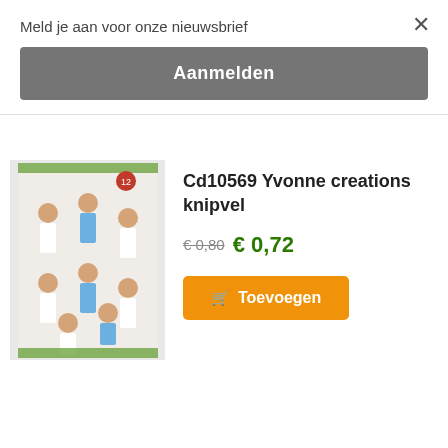Meld je aan voor onze nieuwsbrief
Aanmelden
×
Cd10569 Yvonne creations knipvel
€ 0,80  € 0,72
🛒 Toevoegen
Cd10628 Yvonne Vogeltjes
€ 0,80  € 0,7…
↑ Top